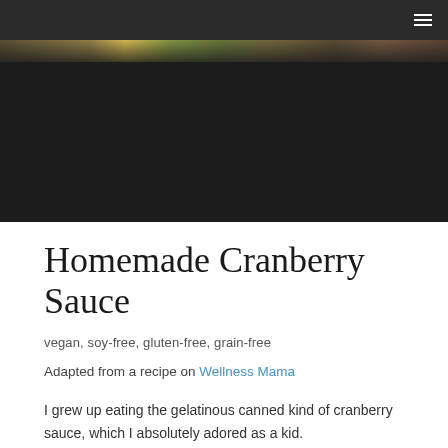[Figure (photo): Dark hero image of fruits/vegetables on a wooden surface, mostly obscured in darkness with a narrow strip visible at the top]
Homemade Cranberry Sauce
vegan, soy-free, gluten-free, grain-free
Adapted from a recipe on Wellness Mama
I grew up eating the gelatinous canned kind of cranberry sauce, which I absolutely adored as a kid.